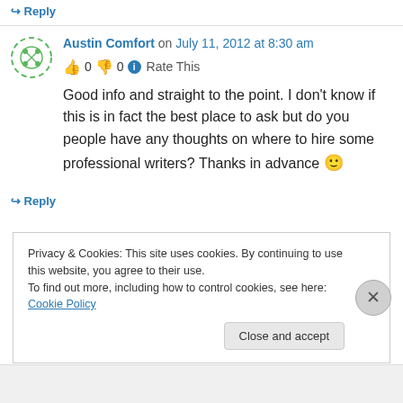↪ Reply
Austin Comfort on July 11, 2012 at 8:30 am
👍 0 👎 0 ℹ Rate This
Good info and straight to the point. I don't know if this is in fact the best place to ask but do you people have any thoughts on where to hire some professional writers? Thanks in advance 🙂
↪ Reply
Privacy & Cookies: This site uses cookies. By continuing to use this website, you agree to their use.
To find out more, including how to control cookies, see here: Cookie Policy
Close and accept